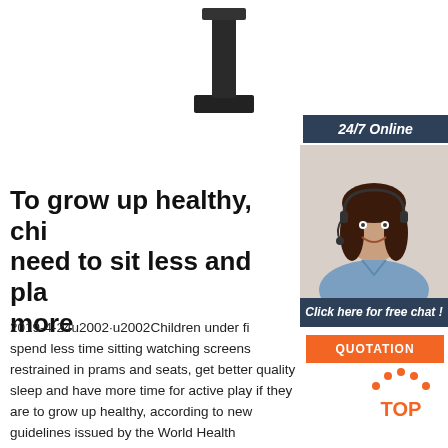[Figure (photo): A black speaker/monitor stand, partially visible at the top of the page, centered]
[Figure (photo): 24/7 Online banner with a smiling customer service woman wearing a headset, with a blue/slate colored header saying '24/7 Online', a 'Click here for free chat!' message, and an orange QUOTATION button]
To grow up healthy, children need to sit less and play more
2019-4-24u2002·u2002Children under five should spend less time sitting watching screens or being restrained in prams and seats, get better quality sleep and have more time for active play if they are to grow up healthy, according to new guidelines issued by the World Health Organization (WHO).
[Figure (logo): TOP badge with orange dots forming an arc above the word TOP in orange letters]